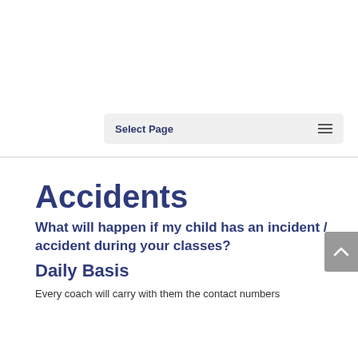Select Page
Accidents
What will happen if my child has an incident / accident during your classes?
Daily Basis
Every coach will carry with them the contact numbers